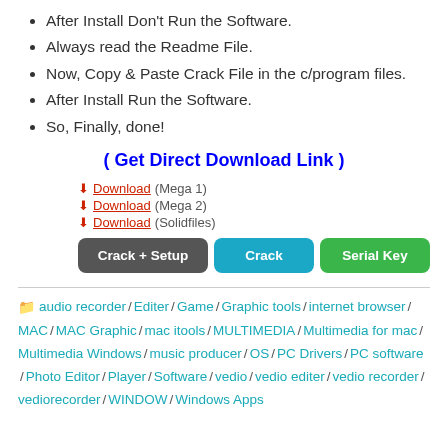After Install Don't Run the Software.
Always read the Readme File.
Now, Copy & Paste Crack File in the c/program files.
After Install Run the Software.
So, Finally, done!
( Get Direct Download Link )
Download (Mega 1)
Download (Mega 2)
Download (Solidfiles)
[Figure (other): Three buttons: Crack + Setup (dark gray), Crack (teal), Serial Key (green)]
audio recorder / Editer / Game / Graphic tools / internet browser / MAC / MAC Graphic / mac itools / MULTIMEDIA / Multimedia for mac / Multimedia Windows / music producer / OS / PC Drivers / PC software / Photo Editor / Player / Software / vedio / vedio editer / vedio recorder / vediorecorder / WINDOW / Windows Apps